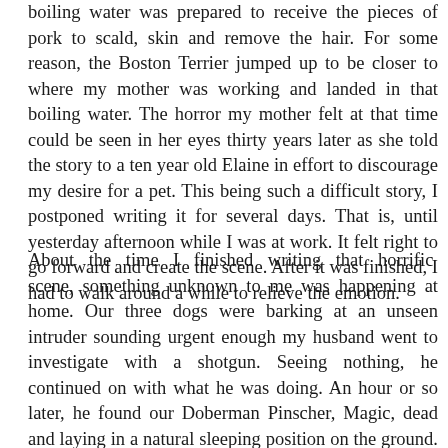This terrible occurrence was on Hog Killing Day. A tub of barrel with boiling water was prepared to receive the pieces of pork to scald, skin and remove the hair. For some reason, the Boston Terrier jumped up to be closer to where my mother was working and landed in that boiling water. The horror my mother felt at that time could be seen in her eyes thirty years later as she told the story to a ten year old Elaine in effort to discourage my desire for a pet. This being such a difficult story, I postponed writing it for several days. That is, until yesterday afternoon while I was at work. It felt right to go forward and create the scene. After it was finished, I had to walk around a while to relieve the emotion.
About the time I finished writing that horrific scene, something unknown to me was happening at home. Our three dogs were barking at an unseen intruder sounding urgent enough my husband went to investigate with a shotgun. Seeing nothing, he continued on with what he was doing. An hour or so later, he found our Doberman Pinscher, Magic, dead and laying in a natural sleeping position on the ground. He determined a poisonous snake must have bitten her directly in an artery. Shocked and angry, he